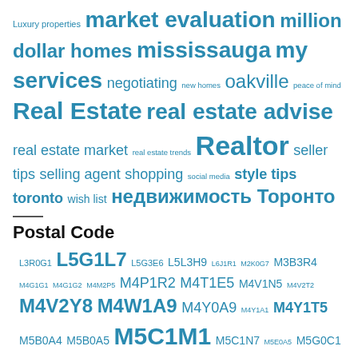[Figure (infographic): Tag cloud with real estate related terms in varying font sizes, all in teal/blue color]
Postal Code
[Figure (infographic): Tag cloud with postal codes in varying font sizes, all in teal/blue color]